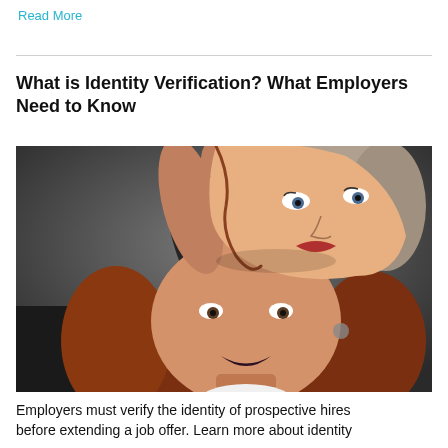Read More
What is Identity Verification? What Employers Need to Know
[Figure (photo): A woman peeling away her face to reveal another face beneath — a surreal double-identity concept image with dark background]
Employers must verify the identity of prospective hires before extending a job offer. Learn more about identity